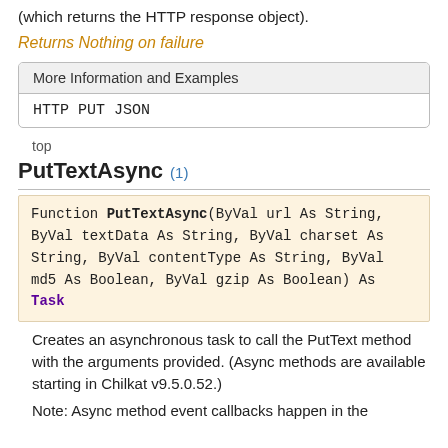(which returns the HTTP response object).
Returns Nothing on failure
| More Information and Examples |
| --- |
| HTTP PUT JSON |
top
PutTextAsync (1)
Function PutTextAsync(ByVal url As String, ByVal textData As String, ByVal charset As String, ByVal contentType As String, ByVal md5 As Boolean, ByVal gzip As Boolean) As Task
Creates an asynchronous task to call the PutText method with the arguments provided. (Async methods are available starting in Chilkat v9.5.0.52.)
Note: Async method event callbacks happen in the